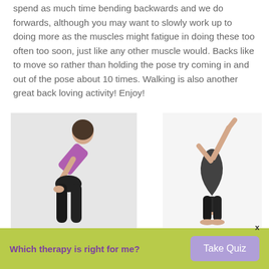spend as much time bending backwards and we do forwards, although you may want to slowly work up to doing more as the muscles might fatigue in doing these too often too soon, just like any other muscle would. Backs like to move so rather than holding the pose try coming in and out of the pose about 10 times. Walking is also another great back loving activity! Enjoy!
[Figure (photo): Two yoga/exercise poses side by side. Left: a woman in a purple sports bra and black leggings bending forward at the waist with hands on thighs. Right: a person in black workout clothes bending backward with arms raised.]
Which therapy is right for me?
Take Quiz